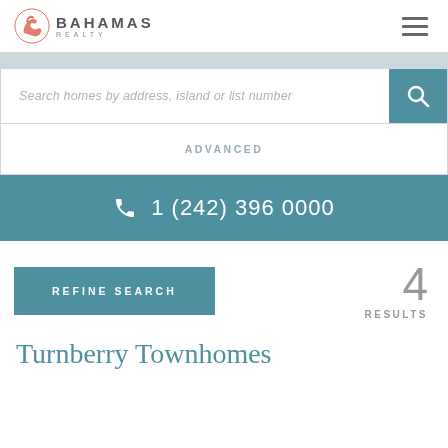[Figure (logo): Bahamas Realty logo with stylized horse/wave icon and text BAHAMAS REALTY]
Search homes by address, island or list number
ADVANCED
1 (242) 396 0000
REFINE SEARCH
4 RESULTS
Turnberry Townhomes